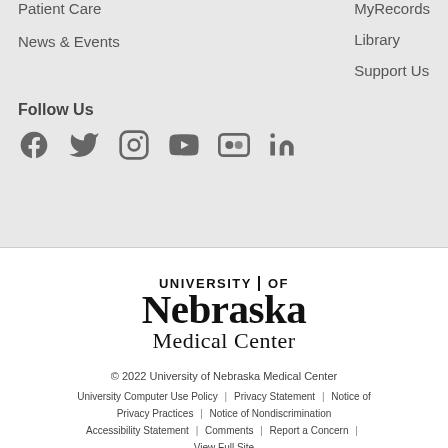Patient Care
News & Events
MyRecords
Library
Support Us
Follow Us
[Figure (infographic): Social media icons: Facebook, Twitter, Instagram, YouTube, Flickr, LinkedIn]
[Figure (logo): University of Nebraska Medical Center logo]
© 2022 University of Nebraska Medical Center
University Computer Use Policy | Privacy Statement | Notice of Privacy Practices | Notice of Nondiscrimination | Accessibility Statement | Comments | Report a Concern | View Full Site